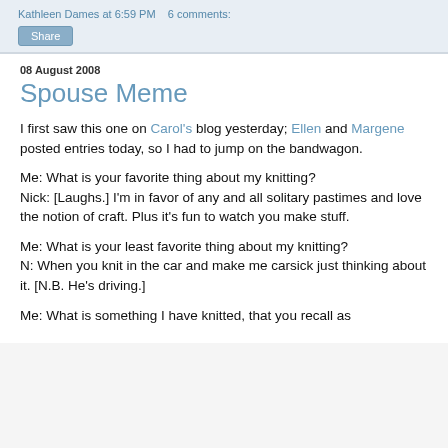Kathleen Dames at 6:59 PM   6 comments:
Share
08 August 2008
Spouse Meme
I first saw this one on Carol's blog yesterday; Ellen and Margene posted entries today, so I had to jump on the bandwagon.
Me: What is your favorite thing about my knitting?
Nick: [Laughs.] I'm in favor of any and all solitary pastimes and love the notion of craft. Plus it's fun to watch you make stuff.
Me: What is your least favorite thing about my knitting?
N: When you knit in the car and make me carsick just thinking about it. [N.B. He's driving.]
Me: What is something I have knitted, that you recall as